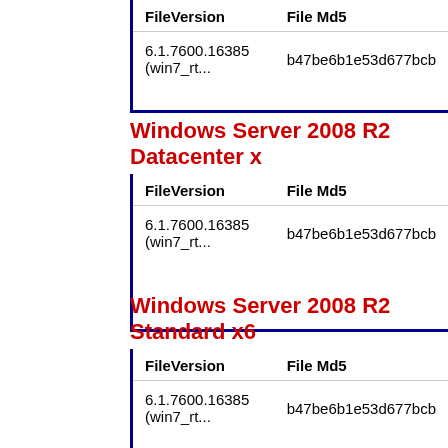| FileVersion | File Md5 |
| --- | --- |
| 6.1.7600.16385 (win7_rt... | b47be6b1e53d677bcb |
Windows Server 2008 R2 Datacenter x
| FileVersion | File Md5 |
| --- | --- |
| 6.1.7600.16385 (win7_rt... | b47be6b1e53d677bcb |
Windows Server 2008 R2 Standard x6
| FileVersion | File Md5 |
| --- | --- |
| 6.1.7600.16385 (win7_rt... | b47be6b1e53d677bcb |